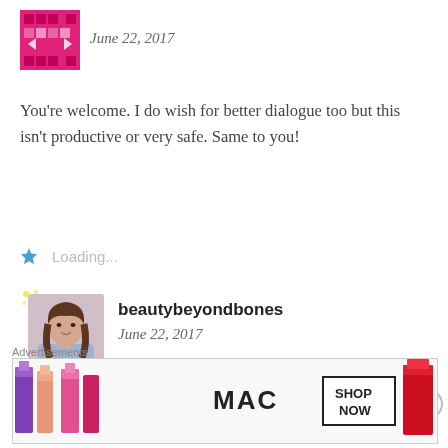[Figure (logo): Pink mosaic/film-strip style avatar icon]
June 22, 2017
You're welcome. I do wish for better dialogue too but this isn't productive or very safe. Same to you!
Loading...
[Figure (photo): Profile photo of beautybeyondbones – a woman with long brown hair]
beautybeyondbones
June 22, 2017
You're so right – – there's a fine line between opening a dialogue/raising awareness and
Advertisements
[Figure (photo): MAC Cosmetics advertisement banner showing colorful lipsticks with SHOP NOW text]